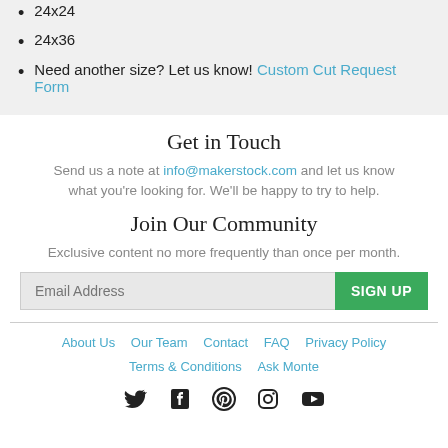24x24
24x36
Need another size? Let us know! Custom Cut Request Form
Get in Touch
Send us a note at info@makerstock.com and let us know what you're looking for. We'll be happy to try to help.
Join Our Community
Exclusive content no more frequently than once per month.
Email Address | SIGN UP
About Us  Our Team  Contact  FAQ  Privacy Policy  Terms & Conditions  Ask Monte